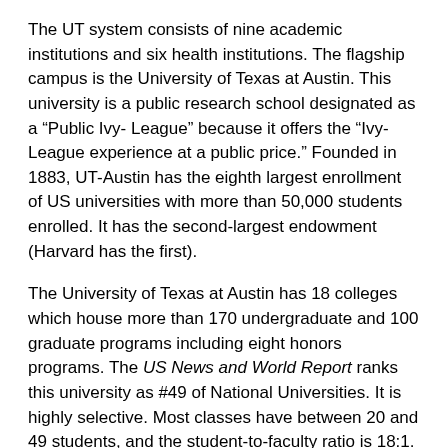The UT system consists of nine academic institutions and six health institutions. The flagship campus is the University of Texas at Austin. This university is a public research school designated as a “Public Ivy- League” because it offers the “Ivy-League experience at a public price.” Founded in 1883, UT-Austin has the eighth largest enrollment of US universities with more than 50,000 students enrolled. It has the second-largest endowment (Harvard has the first).
The University of Texas at Austin has 18 colleges which house more than 170 undergraduate and 100 graduate programs including eight honors programs. The US News and World Report ranks this university as #49 of National Universities. It is highly selective. Most classes have between 20 and 49 students, and the student-to-faculty ratio is 18:1. The four-year graduation rate a UT-Austin is 58 percent.
University of Texas Accreditation Details
Southern Association of Colleges and Schools, Higher